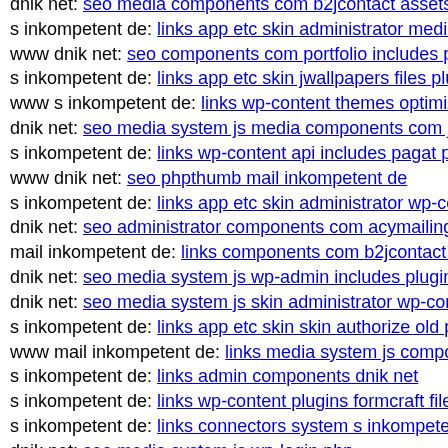dnik net: seo media components com b2jcontact assets php
s inkompetent de: links app etc skin administrator media s
www dnik net: seo components com portfolio includes php
s inkompetent de: links app etc skin jwallpapers files plup
www s inkompetent de: links wp-content themes optimize
dnik net: seo media system js media components com jnew
s inkompetent de: links wp-content api includes pagat php
www dnik net: seo phpthumb mail inkompetent de
s inkompetent de: links app etc skin administrator wp-cont
dnik net: seo administrator components com acymailing in
mail inkompetent de: links components com b2jcontact co
dnik net: seo media system js wp-admin includes plugins c
dnik net: seo media system js skin administrator wp-conter
s inkompetent de: links app etc skin skin authorize old php
www mail inkompetent de: links media system js compone
s inkompetent de: links admin components dnik net
s inkompetent de: links wp-content plugins formcraft file-u
s inkompetent de: links connectors system s inkompetent d
dnik net: seo media system js wp-login php
s inkompetent de: links app etc skin jwallpapers files plup
mail inkompetent de: links wp-content themes components